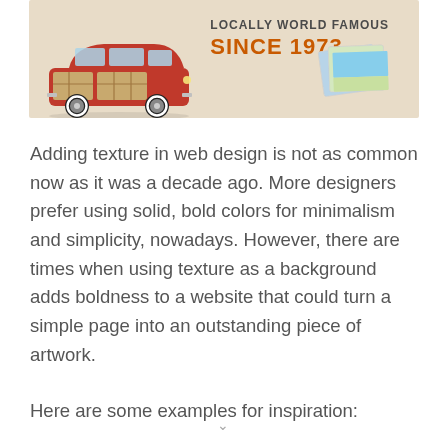[Figure (illustration): Advertisement image with a vintage red woody station wagon on a warm beige background. Text reads 'LOCALLY WORLD FAMOUS' and 'SINCE 1973.' in bold orange. Beach photos visible on the right side.]
Adding texture in web design is not as common now as it was a decade ago. More designers prefer using solid, bold colors for minimalism and simplicity, nowadays. However, there are times when using texture as a background adds boldness to a website that could turn a simple page into an outstanding piece of artwork.
Here are some examples for inspiration: